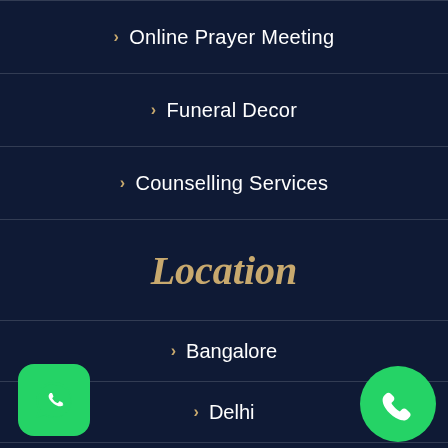> Online Prayer Meeting
> Funeral Decor
> Counselling Services
Location
> Bangalore
> Delhi
> Hyderabad
> Kolkata
[Figure (logo): WhatsApp green rounded square icon with white speech bubble and phone handset]
[Figure (logo): Green circular phone call button with white phone handset icon]